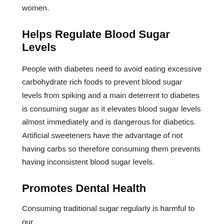women.
Helps Regulate Blood Sugar Levels
People with diabetes need to avoid eating excessive carbohydrate rich foods to prevent blood sugar levels from spiking and a main deterrent to diabetes is consuming sugar as it elevates blood sugar levels almost immediately and is dangerous for diabetics. Artificial sweeteners have the advantage of not having carbs so therefore consuming them prevents having inconsistent blood sugar levels.
Promotes Dental Health
Consuming traditional sugar regularly is harmful to our